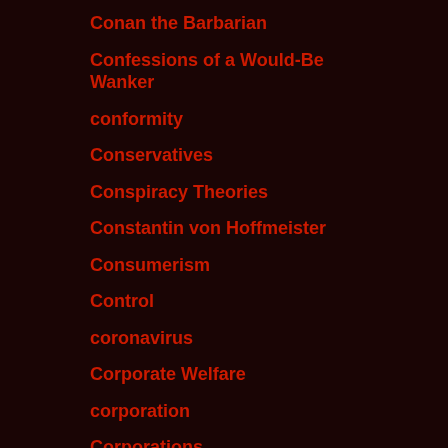Conan the Barbarian
Confessions of a Would-Be Wanker
conformity
Conservatives
Conspiracy Theories
Constantin von Hoffmeister
Consumerism
Control
coronavirus
Corporate Welfare
corporation
Corporations
Cosmic Encounter
Count Isidor Fosco